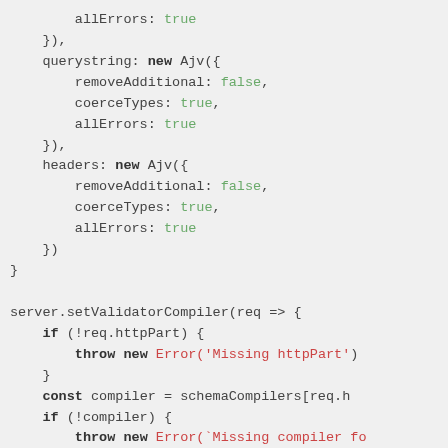Code snippet showing allErrors, querystring, headers Ajv configuration and server.setValidatorCompiler function